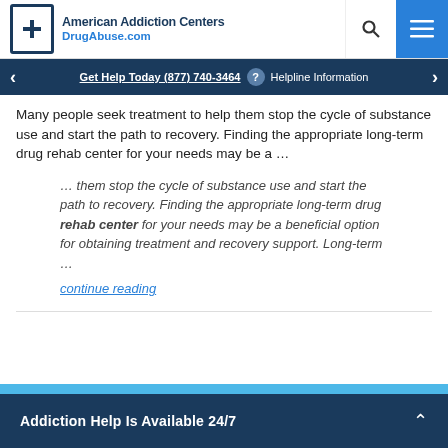American Addiction Centers DrugAbuse.com
Get Help Today (877) 740-3464 ? Helpline Information
Many people seek treatment to help them stop the cycle of substance use and start the path to recovery. Finding the appropriate long-term drug rehab center for your needs may be a ...
... them stop the cycle of substance use and start the path to recovery. Finding the appropriate long-term drug rehab center for your needs may be a beneficial option for obtaining treatment and recovery support. Long-term ... continue reading
Addiction Help Is Available 24/7